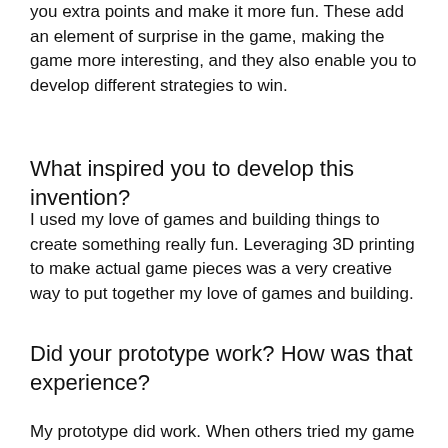you extra points and make it more fun. These add an element of surprise in the game, making the game more interesting, and they also enable you to develop different strategies to win.
What inspired you to develop this invention?
I used my love of games and building things to create something really fun. Leveraging 3D printing to make actual game pieces was a very creative way to put together my love of games and building.
Did your prototype work? How was that experience?
My prototype did work. When others tried my game they said they liked it and thought it was fun and creative. That